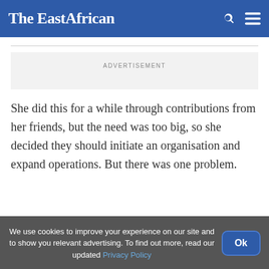The EastAfrican
[Figure (other): Advertisement placeholder box with label ADVERTISEMENT]
She did this for a while through contributions from her friends, but the need was too big, so she decided they should initiate an organisation and expand operations. But there was one problem.
We use cookies to improve your experience on our site and to show you relevant advertising. To find out more, read our updated Privacy Policy